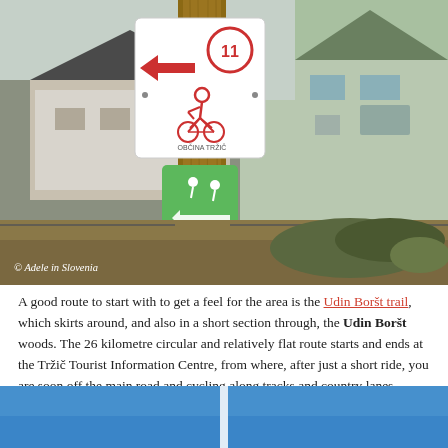[Figure (photo): Wooden post with cycling route signs: white sign with red arrow pointing left, red circled number 11, red cyclist icon, text OBČINA TRŽIČ, and green square sign below with cycling figures. Background shows rural buildings and vegetation.]
© Adele in Slovenia
A good route to start with to get a feel for the area is the Udin Boršt trail, which skirts around, and also in a short section through, the Udin Boršt woods. The 26 kilometre circular and relatively flat route starts and ends at the Tržič Tourist Information Centre, from where, after just a short ride, you are soon off the main road and cycling along tracks and country lanes.
[Figure (photo): Blue sky photograph, partially visible at bottom of page, split by a vertical white line.]